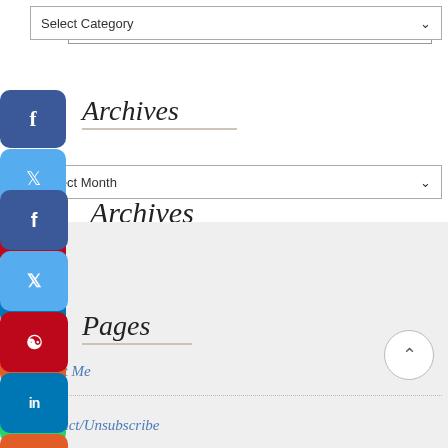Select Category
Archives
Select Month
Pages
About Me
Contact/Unsubscribe